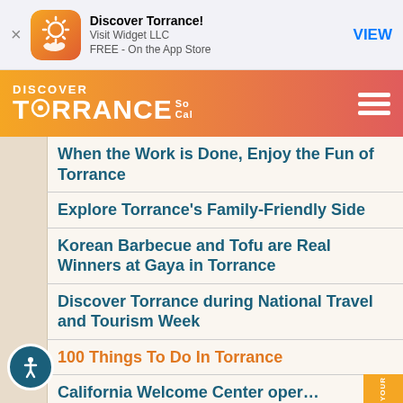[Figure (screenshot): App Store smart banner for 'Discover Torrance!' by Visit Widget LLC, FREE on the App Store, with VIEW button]
[Figure (logo): Discover Torrance SoCal logo on gradient orange-to-red header bar with hamburger menu]
When the Work is Done, Enjoy the Fun of Torrance
Explore Torrance's Family-Friendly Side
Korean Barbecue and Tofu are Real Winners at Gaya in Torrance
Discover Torrance during National Travel and Tourism Week
100 Things To Do In Torrance
California Welcome Center open…